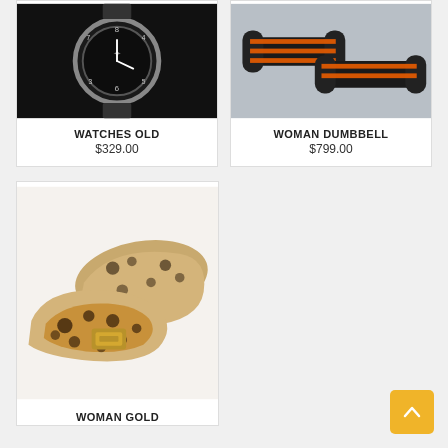[Figure (photo): Black analog watch on dark background]
WATCHES OLD
$329.00
[Figure (photo): Black and orange striped dumbbells on grey background]
WOMAN DUMBBELL
$799.00
[Figure (photo): Leopard print flat shoes with gold buckle on white background]
WOMAN GOLD